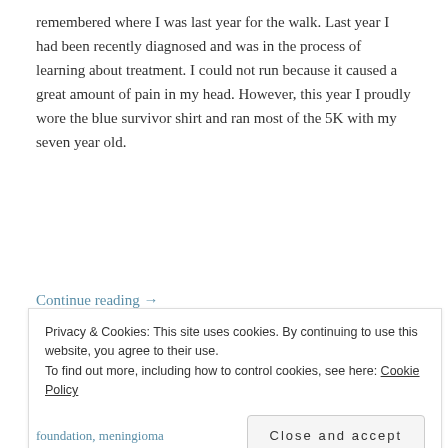remembered where I was last year for the walk. Last year I had been recently diagnosed and was in the process of learning about treatment. I could not run because it caused a great amount of pain in my head. However, this year I proudly wore the blue survivor shirt and ran most of the 5K with my seven year old.
Continue reading →
Sharing is caring:
[Figure (infographic): Social sharing icons: Facebook (blue circle), Pinterest (red circle), Twitter (cyan circle), Tumblr (dark teal circle), Email (gray circle), and a More button]
Privacy & Cookies: This site uses cookies. By continuing to use this website, you agree to their use.
To find out more, including how to control cookies, see here: Cookie Policy
Close and accept
foundation, meningioma